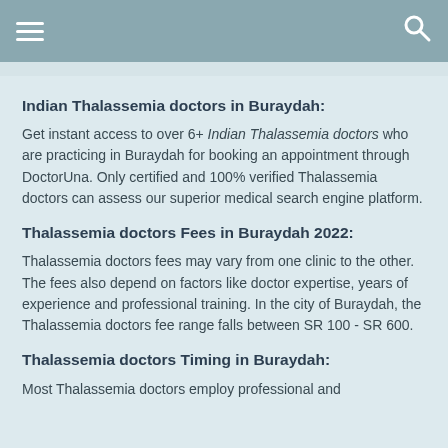Indian Thalassemia doctors in Buraydah:
Get instant access to over 6+ Indian Thalassemia doctors who are practicing in Buraydah for booking an appointment through DoctorUna. Only certified and 100% verified Thalassemia doctors can assess our superior medical search engine platform.
Thalassemia doctors Fees in Buraydah 2022:
Thalassemia doctors fees may vary from one clinic to the other. The fees also depend on factors like doctor expertise, years of experience and professional training. In the city of Buraydah, the Thalassemia doctors fee range falls between SR 100 - SR 600.
Thalassemia doctors Timing in Buraydah:
Most Thalassemia doctors employ professional and